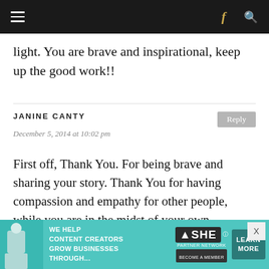≡  f  🔍
light. You are brave and inspirational, keep up the good work!!
JANINE CANTY
December 5, 2014 at 10:02 pm
First off, Thank You. For being brave and sharing your story. Thank You for having compassion and empathy for other people, while you are in the midst of your own struggle. You don't deserve the pain you're in. Picking up a bottle does not make you a bad or a weak person. It never
[Figure (other): Advertisement banner for SHE Media Partner Network. Features a woman with a laptop, text 'WE HELP CONTENT CREATORS GROW BUSINESSES THROUGH...' with SHE Partner Network logo and a 'LEARN MORE' button.]